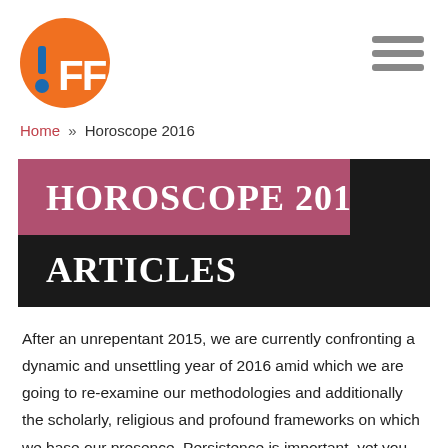[Figure (logo): IFF logo: orange circle with blue exclamation mark and white FF letters]
Home » Horoscope 2016
HOROSCOPE 2016 ARTICLES
After an unrepentant 2015, we are currently confronting a dynamic and unsettling year of 2016 amid which we are going to re-examine our methodologies and additionally the scholarly, religious and profound frameworks on which we base our presence. Persistence is important, yet you needn't bother with a forecast to know this. It appears